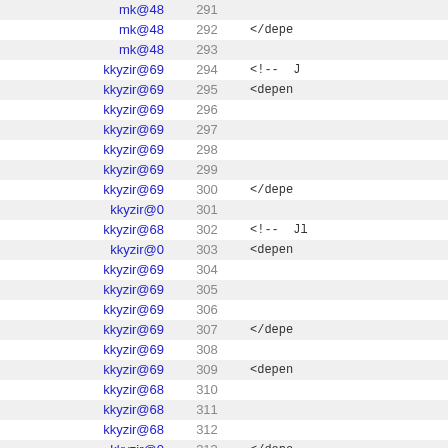| user | line | code |
| --- | --- | --- |
| mk@48 | 291 |  |
| mk@48 | 292 | </depe |
| mk@48 | 293 |  |
| kkyzir@69 | 294 | <!-- J |
| kkyzir@69 | 295 | <depen |
| kkyzir@69 | 296 |  |
| kkyzir@69 | 297 |  |
| kkyzir@69 | 298 |  |
| kkyzir@69 | 299 |  |
| kkyzir@69 | 300 | </depe |
| kkyzir@0 | 301 |  |
| kkyzir@68 | 302 | <!-- Jl |
| kkyzir@0 | 303 | <depen |
| kkyzir@69 | 304 |  |
| kkyzir@69 | 305 |  |
| kkyzir@69 | 306 |  |
| kkyzir@69 | 307 | </depe |
| kkyzir@69 | 308 |  |
| kkyzir@69 | 309 | <depen |
| kkyzir@68 | 310 |  |
| kkyzir@68 | 311 |  |
| kkyzir@68 | 312 |  |
| kkyzir@0 | 313 | </depe |
| kkyzir@0 | 314 |  |
| kkyzir@68 | 315 | <depen |
| kkyzir@68 | 316 |  |
| kkyzir@68 | 317 |  |
| kkyzir@68 | 318 |  |